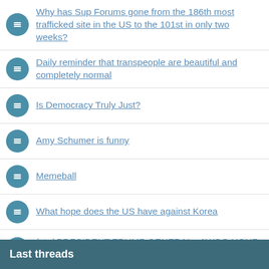Why has Sup Forums gone from the 186th most trafficked site in the US to the 101st in only two weeks?
Daily reminder that transpeople are beautiful and completely normal
Is Democracy Truly Just?
Amy Schumer is funny
Memeball
What hope does the US have against Korea
/ptg/ PRESIDENT TRUMP GENERAL - AWOO HOUR EDITION
*sips tea*
Last threads